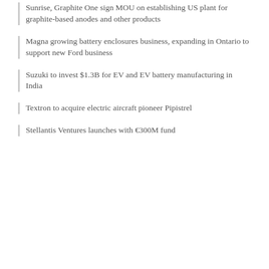Sunrise, Graphite One sign MOU on establishing US plant for graphite-based anodes and other products
Magna growing battery enclosures business, expanding in Ontario to support new Ford business
Suzuki to invest $1.3B for EV and EV battery manufacturing in India
Textron to acquire electric aircraft pioneer Pipistrel
Stellantis Ventures launches with €300M fund
[Figure (screenshot): Twitter widget showing 'Tweets from @mmillikin' with a Follow button, and a tweet by Mike Milli... @mmilli... Nov 6, 2020 about Indonesia looks to become regional hub for EV manufacturing; materials supply chain, with a link to asia.nikkei.com/Business/Autom...]